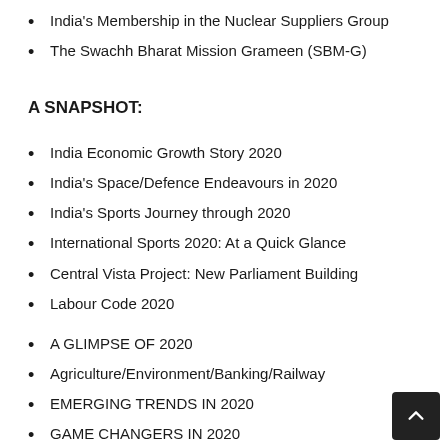India's Membership in the Nuclear Suppliers Group
The Swachh Bharat Mission Grameen (SBM-G)
A SNAPSHOT:
India Economic Growth Story 2020
India's Space/Defence Endeavours in 2020
India's Sports Journey through 2020
International Sports 2020: At a Quick Glance
Central Vista Project: New Parliament Building
Labour Code 2020
A GLIMPSE OF 2020
Agriculture/Environment/Banking/Railway
EMERGING TRENDS IN 2020
GAME CHANGERS IN 2020